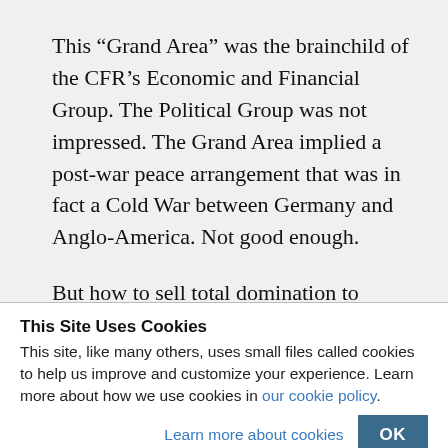This “Grand Area” was the brainchild of the CFR’s Economic and Financial Group. The Political Group was not impressed. The Grand Area implied a post-war peace arrangement that was in fact a Cold War between Germany and Anglo-America. Not good enough.
But how to sell total domination to
This Site Uses Cookies
This site, like many others, uses small files called cookies to help us improve and customize your experience. Learn more about how we use cookies in our cookie policy.
Learn more about cookies   OK